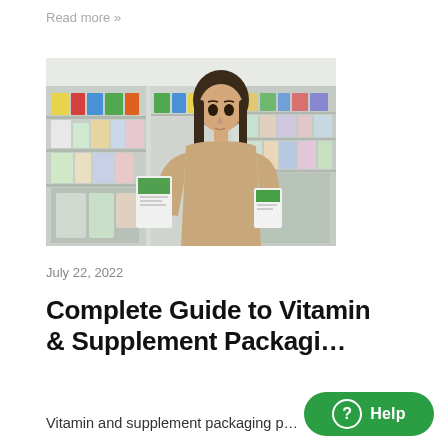Read more »
[Figure (photo): A young woman in a pharmacy or supplement store, holding two white supplement/vitamin boxes and comparing them. Behind her are shelves stocked with colorful supplement and health product packages.]
July 22, 2022
Complete Guide to Vitamin & Supplement Packaging
Vitamin and supplement packaging p…